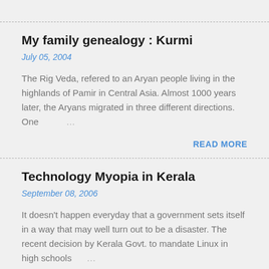My family genealogy : Kurmi
July 05, 2004
The Rig Veda, refered to an Aryan people living in the highlands of Pamir in Central Asia. Almost 1000 years later, the Aryans migrated in three different directions. One …
READ MORE
Technology Myopia in Kerala
September 08, 2006
It doesn't happen everyday that a government sets itself in a way that may well turn out to be a disaster. The recent decision by Kerala Govt. to mandate Linux in high schools …